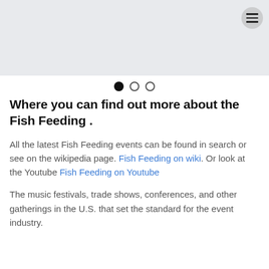[Figure (other): Light gray hero banner image area with a circular menu icon (hamburger icon) in the top-right corner]
Where you can find out more about the Fish Feeding .
All the latest Fish Feeding events can be found in search or see on the wikipedia page. Fish Feeding on wiki. Or look at the Youtube Fish Feeding on Youtube
The music festivals, trade shows, conferences, and other gatherings in the U.S. that set the standard for the event industry.